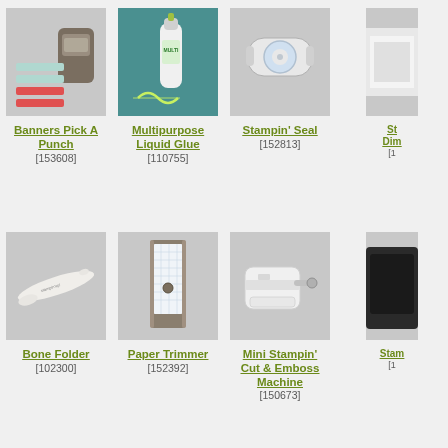[Figure (photo): Banners Pick A Punch crafting tool with paper strips]
Banners Pick A Punch
[153608]
[Figure (photo): Multipurpose Liquid Glue bottle on teal paper]
Multipurpose Liquid Glue
[110755]
[Figure (photo): Stampin' Seal adhesive dispenser]
Stampin' Seal
[152813]
[Figure (photo): Partially visible product (cut off)]
St
Dim
[1
[Figure (photo): Bone Folder crafting tool]
Bone Folder
[102300]
[Figure (photo): Paper Trimmer cutting board]
Paper Trimmer
[152392]
[Figure (photo): Mini Stampin' Cut & Emboss Machine]
Mini Stampin'
Cut & Emboss
Machine
[150673]
[Figure (photo): Partially visible dark product (cut off)]
Stam
[1